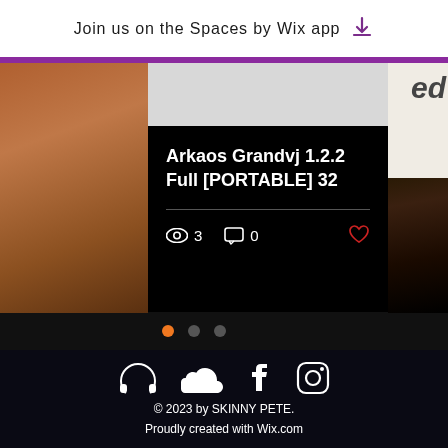Join us on the Spaces by Wix app ⬇
[Figure (screenshot): App screenshot showing a blog post card with title 'Arkaos Grandvj 1.2.2 Full [PORTABLE] 32', view count 3, comment count 0, and a heart/like icon. Background images visible on left and right.]
[Figure (illustration): Pagination dots: orange filled circle, grey circle, grey circle]
[Figure (illustration): Four white social media icons: headphones/Mixcloud, SoundCloud, Facebook, Instagram]
© 2023 by SKINNY PETE. Proudly created with Wix.com